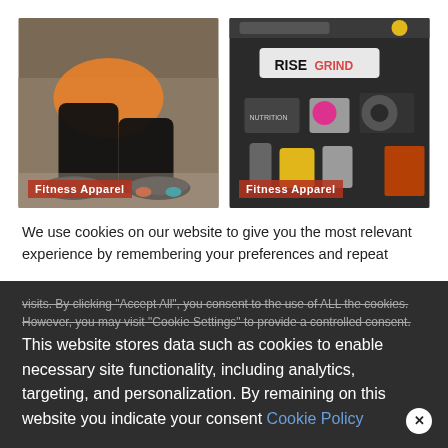[Figure (photo): Person in athletic wear doing a squat/lunge exercise outdoors, wearing colorful sneakers. Label: Fitness Apparel]
[Figure (photo): Flat lay of fitness accessories including a towel reading RISE, supplements, resistance bands and weights on dark background. Label: Fitness Apparel]
We use cookies on our website to give you the most relevant experience by remembering your preferences and repeat visits. By clicking "Accept All", you consent to the use of ALL the cookies. However, you may visit "Cookie Settings" to provide a controlled consent.
This website stores data such as cookies to enable necessary site functionality, including analytics, targeting, and personalization. By remaining on this website you indicate your consent Cookie Policy